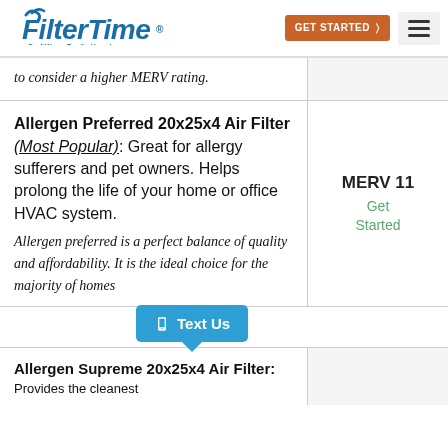FilterTime® — Don't Worry...Breathe Happy! | GET STARTED | Menu
to consider a higher MERV rating.
Allergen Preferred 20x25x4 Air Filter (Most Popular): Great for allergy sufferers and pet owners. Helps prolong the life of your home or office HVAC system. Allergen preferred is a perfect balance of quality and affordability. It is the ideal choice for the majority of homes
MERV 11
Get Started
Allergen Supreme 20x25x4 Air Filter: Provides the cleanest
[Figure (other): Text Us chat button overlay]